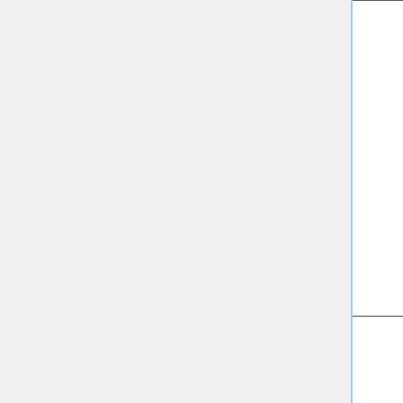|  | Description | Contact | Type |
| --- | --- | --- | --- |
|  | For Hg: ND03
For POPS: ND53
For Satellite timeseries: ND51, ND51b |  |  |
|  | Add netCDF diagnostic for UV fluxes from FAST-JX | Jonathan Moch (Harvard)
Bob Yantosca (GCST) | Stru... |
|  | KPP equation reactivity rate and OH reactivity diagnostics | Christoph Keller (GMAO) | Stru... |
|  | Bug fix for HEMCO standalone using high resolution input | Chris Holmes (FSU) | Bug... |